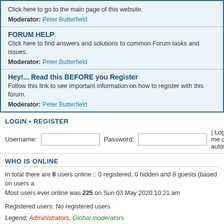Click here to go to the main page of this website. Moderator: Peter Butterfield
FORUM HELP
Click here to find answers and solutions to common Forum tasks and issues. Moderator: Peter Butterfield
Hey!... Read this BEFORE you Register
Follow this link to see important information on how to register with this forum. Moderator: Peter Butterfield
LOGIN • REGISTER
Username: [input] Password: [input] | Log me on autom
WHO IS ONLINE
In total there are 8 users online :: 0 registered, 0 hidden and 8 guests (based on users a Most users ever online was 225 on Sun 03 May 2020 10:21 am
Registered users: No registered users
Legend: Administrators, Global moderators
STATISTICS
Total posts 16332 • Total topics 5318 • Total members 540 • Our newest member Jon Mo
Board index | The team • Delete all b
Powered by phpBB® Forum Software © phpBB Gr